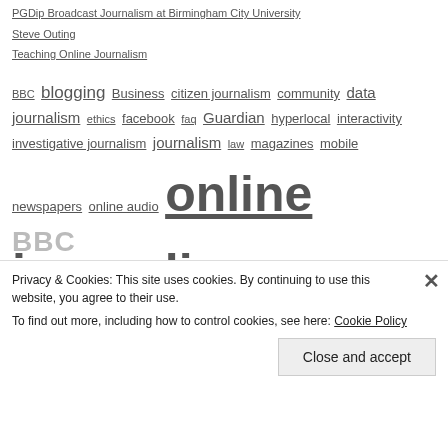PGDip Broadcast Journalism at Birmingham City University
Steve Outing
Teaching Online Journalism
BBC blogging Business citizen journalism community data journalism ethics facebook faq Guardian hyperlocal interactivity investigative journalism journalism law magazines mobile newspapers online audio online journalism online video podcasts radio regulation SEO social media television twitter user generated content video
Privacy & Cookies: This site uses cookies. By continuing to use this website, you agree to their use. To find out more, including how to control cookies, see here: Cookie Policy
Close and accept